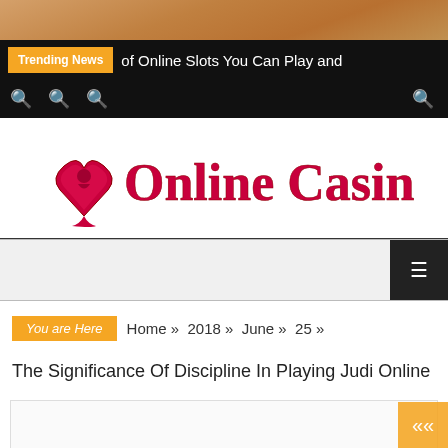[Figure (screenshot): Top decorative image bar with warm orange/brown tones]
Trending News | of Online Slots You Can Play and
[Figure (logo): Online Casinos logo with red spade playing card icon and bold red serif text]
You are Here  Home » 2018 » June » 25 »
The Significance Of Discipline In Playing Judi Online